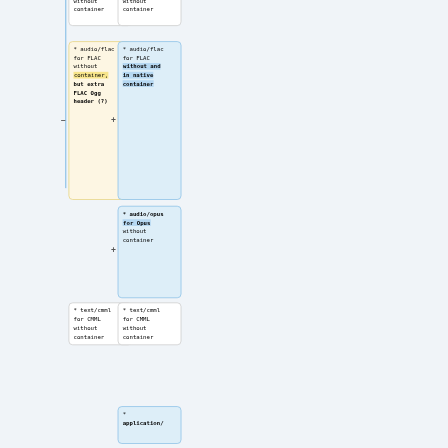[Figure (flowchart): Flowchart diagram showing MIME type mappings with two columns of boxes connected by a vertical blue line, with plus and minus signs indicating additions/removals. Boxes include: audio/flac for FLAC without container (yellow, with 'but extra FLAC Ogg header (?)' bold), audio/flac for FLAC without and in native container (blue), audio/opus for Opus without container (blue), text/cmml for CMML without container (white, both columns), and application/... (blue, partial).]